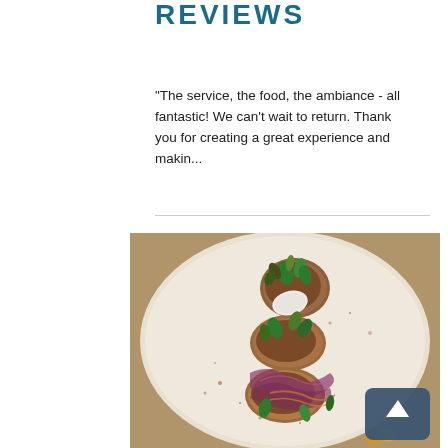REVIEWS
"The service, the food, the ambiance - all fantastic! We can't wait to return. Thank you for creating a great experience and makin...
[Figure (photo): Overhead close-up photo of a gourmet restaurant dish: seared medallions topped with microgreens, purple cabbage, and edible flowers on a white plate, with a scroll-to-top button overlay in the lower right corner.]